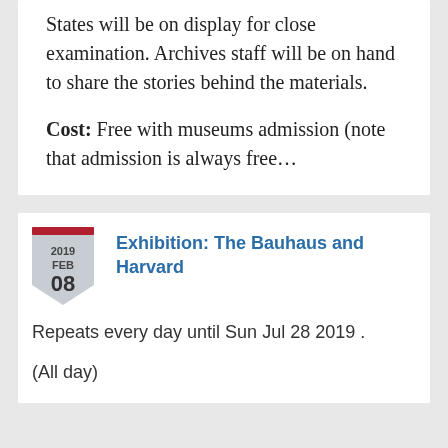States will be on display for close examination. Archives staff will be on hand to share the stories behind the materials.
Cost: Free with museums admission (note that admission is always free...
[Figure (other): Calendar badge showing date 2019 FEB 08 with red top bar and shield/pentagon shape in light gray]
Exhibition: The Bauhaus and Harvard
Repeats every day until Sun Jul 28 2019 .
(All day)